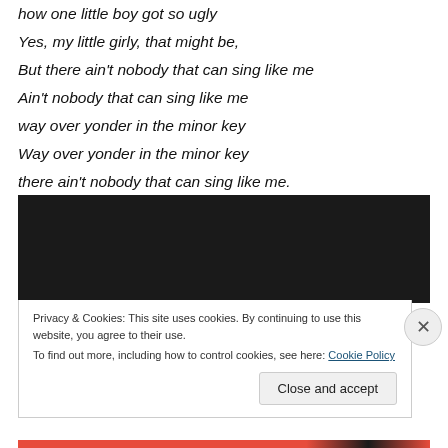how one little boy got so ugly
Yes, my little girly, that might be,
But there ain't nobody that can sing like me
Ain't nobody that can sing like me
way over yonder in the minor key
Way over yonder in the minor key
there ain't nobody that can sing like me.
[Figure (other): Black video/media player embed area]
Privacy & Cookies: This site uses cookies. By continuing to use this website, you agree to their use.
To find out more, including how to control cookies, see here: Cookie Policy